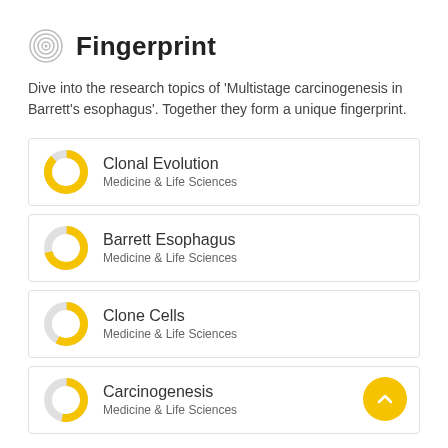Fingerprint
Dive into the research topics of 'Multistage carcinogenesis in Barrett's esophagus'. Together they form a unique fingerprint.
Clonal Evolution — Medicine & Life Sciences
Barrett Esophagus — Medicine & Life Sciences
Clone Cells — Medicine & Life Sciences
Carcinogenesis — Medicine & Life Sciences